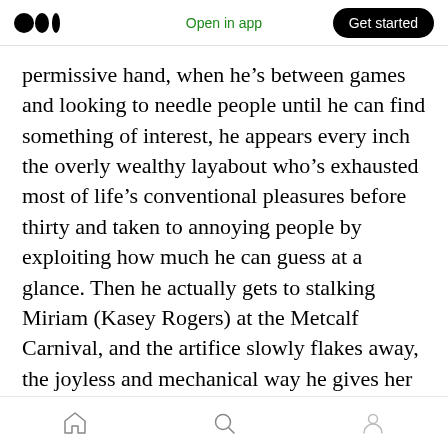Medium logo | Open in app | Get started
permissive hand, when he’s between games and looking to needle people until he can find something of interest, he appears every inch the overly wealthy layabout who’s exhausted most of life’s conventional pleasures before thirty and taken to annoying people by exploiting how much he can guess at a glance. Then he actually gets to stalking Miriam (Kasey Rogers) at the Metcalf Carnival, and the artifice slowly flakes away, the joyless and mechanical way he gives her cold smiles from across the way, demonstrates his might at a test-your-strength
Home | Search | Profile